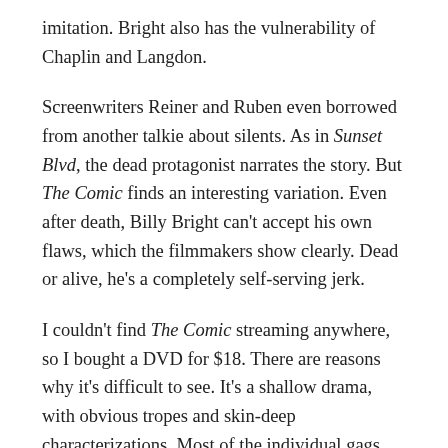imitation. Bright also has the vulnerability of Chaplin and Langdon.
Screenwriters Reiner and Ruben even borrowed from another talkie about silents. As in Sunset Blvd, the dead protagonist narrates the story. But The Comic finds an interesting variation. Even after death, Billy Bright can't accept his own flaws, which the filmmakers show clearly. Dead or alive, he's a completely self-serving jerk.
I couldn't find The Comic streaming anywhere, so I bought a DVD for $18. There are reasons why it's difficult to see. It's a shallow drama, with obvious tropes and skin-deep characterizations. Most of the individual gags work, but only one sequence